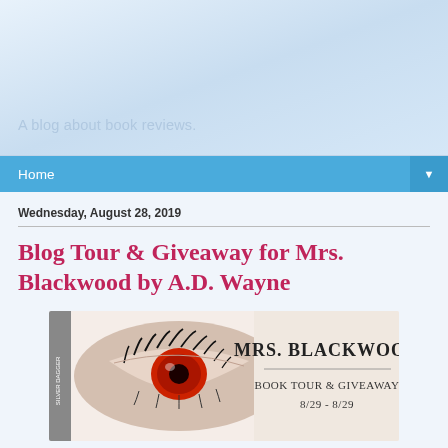A blog about book reviews.
Home
Wednesday, August 28, 2019
Blog Tour & Giveaway for Mrs. Blackwood by A.D. Wayne
[Figure (illustration): Mrs. Blackwood Book Tour & Giveaway banner image featuring a close-up of an eye with a red iris, dramatic eyelashes, the text 'Mrs. Blackwood' in gothic lettering, and 'Book Tour & Giveaway 8/29 - 8/29' below. Silver Dagger logo on left side.]